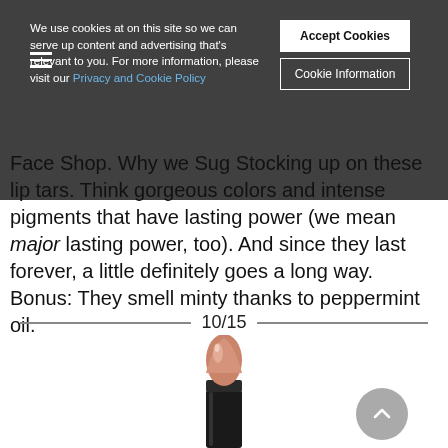We use cookies at on this site so we can serve up content and advertising that's relevant to you. For more information, please visit our Privacy and Cookie Policy
Face Shop. Why we Sug Stocking up on these lip tars. Think gorgeous colors and intense pigments that have lasting power (we mean major lasting power, too). And since they last forever, a little definitely goes a long way. Bonus: They smell minty thanks to peppermint oil.
10/15
[Figure (photo): A nude/rose-toned lipstick in a black tube, shown at an angle against a white background.]